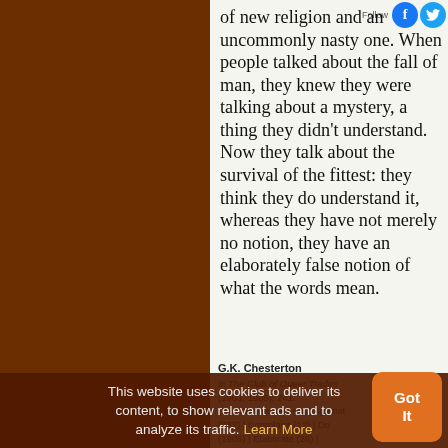of new religion and an uncommonly nasty one. When people talked about the fall of man, they knew they were talking about a mystery, a thing they didn't understand. Now they talk about the survival of the fittest: they think they do understand it, whereas they have not merely no notion, they have an elaborately false notion of what the words mean.
G.K. Chesterton in The Club of Queer Trades (1903, 1905), 241. See More quotes on: | Against (332) | Complaint (12) | Do (1905) | Elaborate (28) |
This website uses cookies to deliver its content, to show relevant ads and to analyze its traffic. Learn More